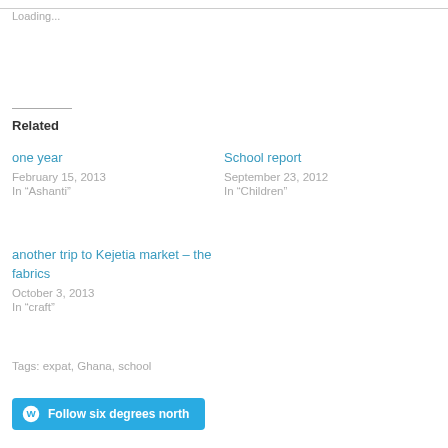Loading...
Related
one year
February 15, 2013
In "Ashanti"
School report
September 23, 2012
In "Children"
another trip to Kejetia market – the fabrics
October 3, 2013
In "craft"
Tags: expat, Ghana, school
Follow six degrees north